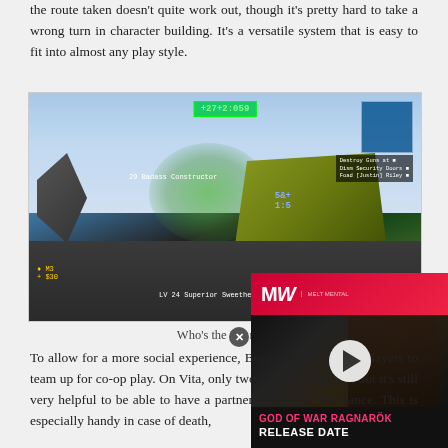the route taken doesn't quite work out, though it's pretty hard to take a wrong turn in character building. It's a versatile system that is easy to fit into almost any play style.
[Figure (screenshot): Borderlands 2 gameplay screenshot showing a large robot enemy (Constructor) with green smoke effects, HUD elements including health bar and weapon info, and quest objectives panel in upper right]
Who's the BA now
[Figure (other): Advertisement overlay for God of War Ragnarök showing MW logo on red background, a play button over a dark image of a bald man, with text 'GOD OF WAR RAGNARÖK RELEASE DATE']
To allow for a more social experience, Borderlands 2 allows players to team up for co-op play. On Vita, only two can play together, but it's still very helpful to be able to have a partner around for assistance. This is especially handy in case of death,